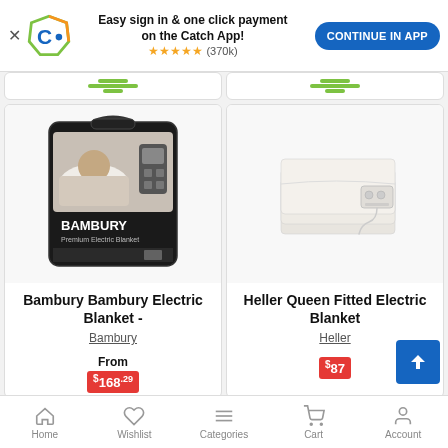[Figure (screenshot): Catch app promotional banner with logo, text 'Easy sign in & one click payment on the Catch App!', star rating (370k reviews), and 'CONTINUE IN APP' button]
[Figure (photo): Bambury Premium Electric Blanket product packaging image showing a woman lying on a bed and the blanket controller]
Bambury Bambury Electric Blanket -
Bambury
From
$168.29
[Figure (photo): Heller Queen Fitted Electric Blanket product photo showing a folded white electric blanket with controller]
Heller Queen Fitted Electric Blanket
Heller
$87
Home  Wishlist  Categories  Cart  Account